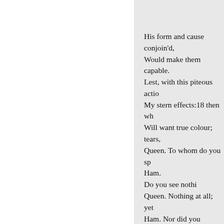His form and cause conjoin'd, preaching to stones,
Would make them capable.
Lest, with this piteous action you convert
My stern effects:18 then whither would
Will want true colour; tears, perchance for blood.
Queen. To whom do you speak this?
Ham.
Do you see nothing there?
Queen. Nothing at all; yet all that is I see.
Ham. Nor did you nothing hear?
Queen.
No, nothing, but our selves.
Ham. Why, look you there! look, how it steals
away!

A murderer, and a villain;
A slave, that is not twentieth part the tithe
Of your precedent lord :-a vice of kings;
A cutpurse of the empire and the rule,
That from a shelf the precious diadem stole,
And put it in his pocket!
Queen.